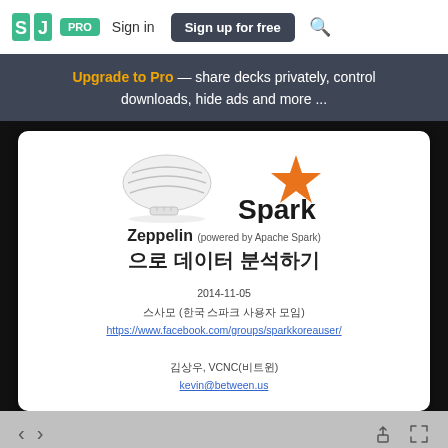SJ PRO  Sign in  Sign up for free
Upgrade to Pro — share decks privately, control downloads, hide ads and more ...
[Figure (logo): Zeppelin blimp logo and Apache Spark logo side by side on white slide background]
Zeppelin (powered by Apache Spark) 으로 데이터 분석하기
2014-11-05
스사모 (한국 스파크 사용자 모임)
https://www.facebook.com/groups/sparkkoreauser/

김상우, VCNC(비트윈)
kevin@between.us
< >    [share] [fullscreen]